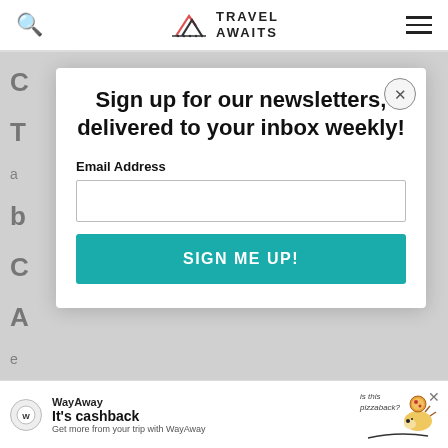Travel Awaits
[Figure (screenshot): Travel Awaits website header with search icon, mountain/arrow logo, and hamburger menu]
Sign up for our newsletters, delivered to your inbox weekly!
Email Address
SIGN ME UP!
[Figure (infographic): WayAway advertisement banner: It's cashback. Get more from your trip with WayAway. Is this pizzaback? Character illustration with pizza.]